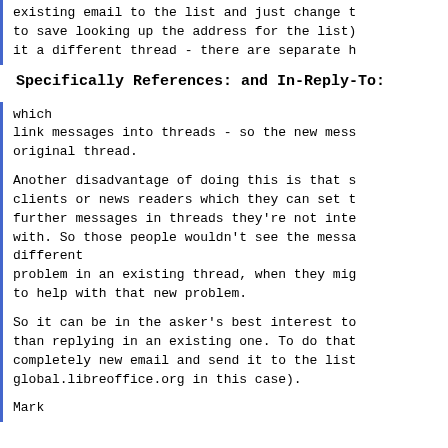existing email to the list and just change t
to save looking up the address for the list)
it a different thread - there are separate h
Specifically References: and In-Reply-To:
which
link messages into threads - so the new mess
original thread.

Another disadvantage of doing this is that s
clients or news readers which they can set t
further messages in threads they're not inte
with. So those people wouldn't see the messa
different
problem in an existing thread, when they mig
to help with that new problem.

So it can be in the asker's best interest to
than replying in an existing one. To do that
completely new email and send it to the list
global.libreoffice.org in this case).

Mark